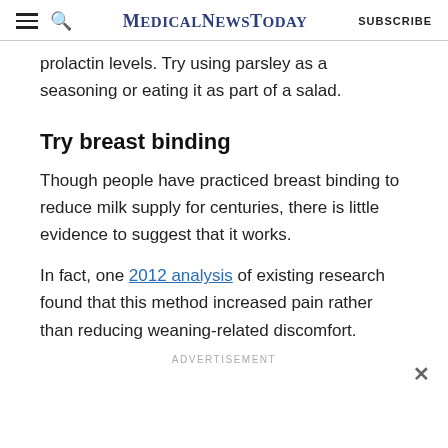MedicalNewsToday | SUBSCRIBE
prolactin levels. Try using parsley as a seasoning or eating it as part of a salad.
Try breast binding
Though people have practiced breast binding to reduce milk supply for centuries, there is little evidence to suggest that it works.
In fact, one 2012 analysis of existing research found that this method increased pain rather than reducing weaning-related discomfort.
ADVERTISEMENT